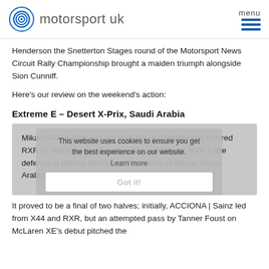motorsport uk
Henderson the Snetterton Stages round of the Motorsport News Circuit Rally Championship brought a maiden triumph alongside Sion Cunniff.
Here’s our review on the weekend’s action:
Extreme E – Desert X-Prix, Saudi Arabia
This website uses cookies to ensure you get the best experience on our website. Learn more
Got it!
Mikaela Ahlin-Kottunlinsky and Johan Kristofferson steered RXR to victory in the Desert X-Prix, kicking off RXR’s title defence in perfect fashion on the sands of Neom, Saudi Arabia.
It proved to be a final of two halves; initially, ACCIONA | Sainz led from X44 and RXR, but an attempted pass by Tanner Foust on McLaren XE’s debut pitched the